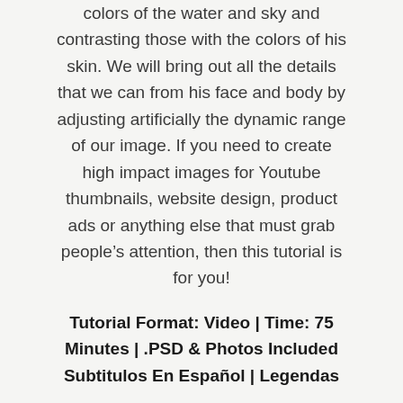colors of the water and sky and contrasting those with the colors of his skin. We will bring out all the details that we can from his face and body by adjusting artificially the dynamic range of our image. If you need to create high impact images for Youtube thumbnails, website design, product ads or anything else that must grab people's attention, then this tutorial is for you!
Tutorial Format: Video | Time: 75 Minutes | .PSD & Photos Included Subtitulos En Español | Legendas